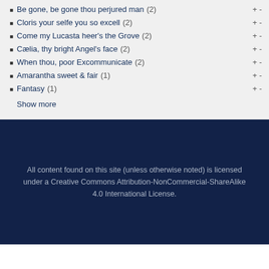Be gone, be gone thou perjured man (2)
Cloris your selfe you so excell (2)
Come my Lucasta heer's the Grove (2)
Cælia, thy bright Angel's face (2)
When thou, poor Excommunicate (2)
Amarantha sweet & fair (1)
Fantasy (1)
Show more
All content found on this site (unless otherwise noted) is licensed under a Creative Commons Attribution-NonCommercial-ShareAlike 4.0 International License.